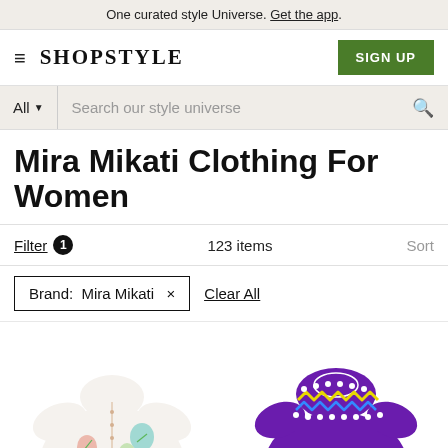One curated style Universe. Get the app.
SHOPSTYLE | SIGN UP
All ▾ Search our style universe 🔍
Mira Mikati Clothing For Women
Filter 1   123 items   Sort
Brand: Mira Mikati ×   Clear All
[Figure (photo): Product images: white floral print short-sleeve shirt (left) and purple knit sweater with colorful zigzag yoke embroidery (right)]